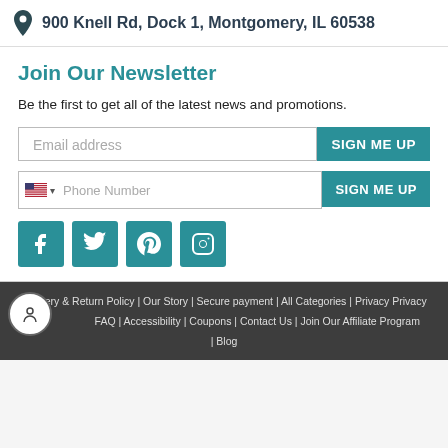900 Knell Rd, Dock 1, Montgomery, IL 60538
Join Our Newsletter
Be the first to get all of the latest news and promotions.
[Figure (screenshot): Email address input field with SIGN ME UP button]
[Figure (screenshot): Phone number input field with US flag dropdown and SIGN ME UP button]
[Figure (infographic): Social media icons: Facebook, Twitter, Pinterest, Instagram - all in teal]
Delivery & Return Policy | Our Story | Secure payment | All Categories | Privacy Policy | FAQ | Accessibility | Coupons | Contact Us | Join Our Affiliate Program | Blog